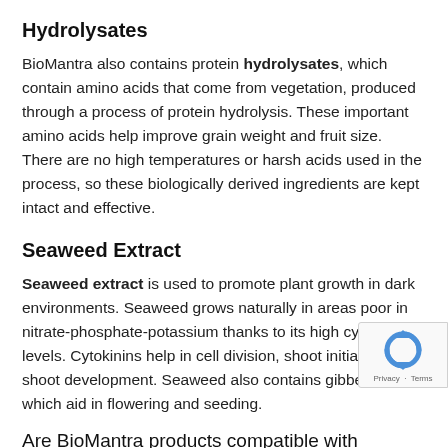Hydrolysates
BioMantra also contains protein hydrolysates, which contain amino acids that come from vegetation, produced through a process of protein hydrolysis. These important amino acids help improve grain weight and fruit size. There are no high temperatures or harsh acids used in the process, so these biologically derived ingredients are kept intact and effective.
Seaweed Extract
Seaweed extract is used to promote plant growth in dark environments. Seaweed grows naturally in areas poor in nitrate-phosphate-potassium thanks to its high cytokinin levels. Cytokinins help in cell division, shoot initiation, and shoot development. Seaweed also contains gibberellins which aid in flowering and seeding.
Are BioMantra products compatible with